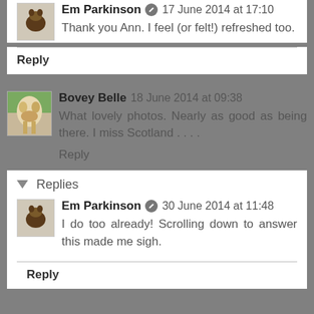Em Parkinson 17 June 2014 at 17:10
Thank you Ann. I feel (or felt!) refreshed too.
Reply
Bovey Belle 18 June 2014 at 09:38
What lovely photos. Nearly as good as being there. I miss Scotland . . . .
Reply
Replies
Em Parkinson 30 June 2014 at 11:48
I do too already! Scrolling down to answer this made me sigh.
Reply